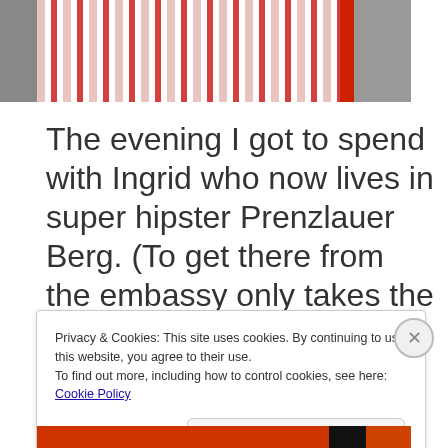[Figure (photo): Partial photo showing red and white striped fabric/clothing against a grey background, with a red vertical element on the right side.]
The evening I got to spend with Ingrid who now lives in super hipster Prenzlauer Berg. (To get there from the embassy only takes the same amount of time as flying to Berlin from Düsseldorf. Basically…
Privacy & Cookies: This site uses cookies. By continuing to use this website, you agree to their use.
To find out more, including how to control cookies, see here: Cookie Policy
Close and accept